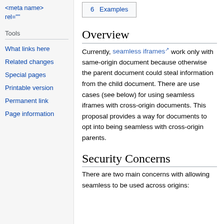<meta name> rel=""
Tools
What links here
Related changes
Special pages
Printable version
Permanent link
Page information
6  Examples
Overview
Currently, seamless iframes work only with same-origin document because otherwise the parent document could steal information from the child document. There are use cases (see below) for using seamless iframes with cross-origin documents. This proposal provides a way for documents to opt into being seamless with cross-origin parents.
Security Concerns
There are two main concerns with allowing seamless to be used across origins: